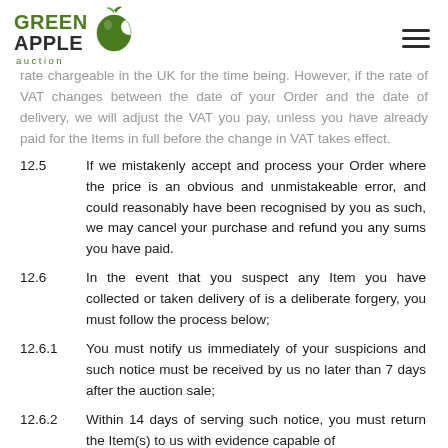Green Apple Auction logo and navigation menu
rate chargeable in the UK for the time being. However, if the rate of VAT changes between the date of your Order and the date of delivery, we will adjust the VAT you pay, unless you have already paid for the Items in full before the change in VAT takes effect.
12.5  If we mistakenly accept and process your Order where the price is an obvious and unmistakeable error, and could reasonably have been recognised by you as such, we may cancel your purchase and refund you any sums you have paid.
12.6  In the event that you suspect any Item you have collected or taken delivery of is a deliberate forgery, you must follow the process below;
12.6.1  You must notify us immediately of your suspicions and such notice must be received by us no later than 7 days after the auction sale;
12.6.2  Within 14 days of serving such notice, you must return the Item(s) to us with evidence capable of